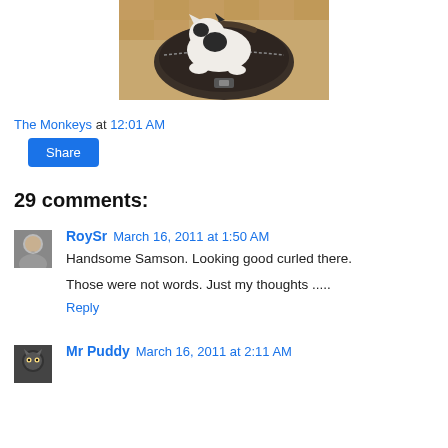[Figure (photo): A fluffy white and black cat curled up inside a dark travel bag/luggage, placed on a parquet wood floor]
The Monkeys at 12:01 AM
Share
29 comments:
RoySr March 16, 2011 at 1:50 AM
Handsome Samson. Looking good curled there.
Those were not words. Just my thoughts .....
Reply
Mr Puddy March 16, 2011 at 2:11 AM